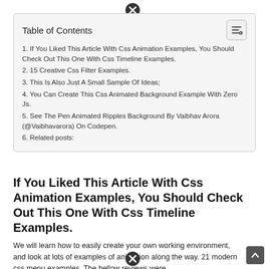| Table of Contents |
| --- |
| 1. If You Liked This Article With Css Animation Examples, You Should Check Out This One With Css Timeline Examples. |
| 2. 15 Creative Css Filter Examples. |
| 3. This Is Also Just A Small Sample Of Ideas; |
| 4. You Can Create This Css Animated Background Example With Zero Js. |
| 5. See The Pen Animated Ripples Background By Vaibhav Arora (@Vaibhavarora) On Codepen. |
| 6. Related posts: |
If You Liked This Article With Css Animation Examples, You Should Check Out This One With Css Timeline Examples.
We will learn how to easily create your own working environment, and look at lots of examples of animation along the way. 21 modern css menu examples. The bellow reviews were